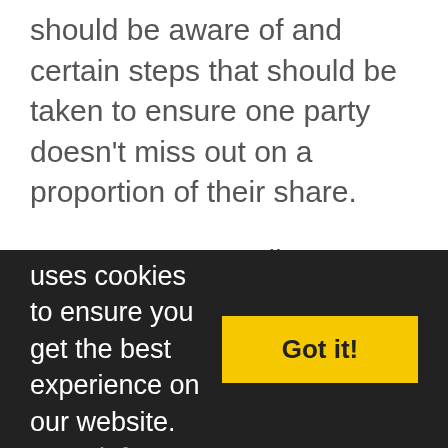should be aware of and certain steps that should be taken to ensure one party doesn't miss out on a proportion of their share.
At Harrogate Family Law we offer legal advice to couples who are thinking of living together. We can also draw up a cohabitation agreement which is a contract that registers the intentions of both parties in relation to how their property will be shared if they split up. Things that are often discussed when drawing up such agreement might include purchase price, ongoing payments, contributions to bill...
This website uses cookies to ensure you get the best experience on our website. More info »